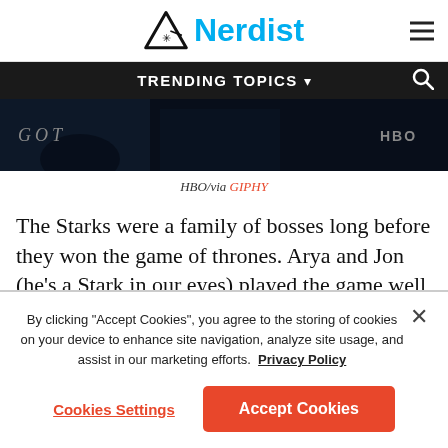[Figure (logo): Nerdist logo: triangle with asterisk and laser beam icon, followed by 'Nerdist' in cyan bold text]
TRENDING TOPICS ▾
[Figure (screenshot): Dark Game of Thrones scene with GOT label on left and HBO logo on right]
HBO/via GIPHY
The Starks were a family of bosses long before they won the game of thrones. Arya and Jon (he's a Stark in our eyes) played the game well with intelligence and physical prowess. Sansa proved that you could be both feminine
By clicking "Accept Cookies", you agree to the storing of cookies on your device to enhance site navigation, analyze site usage, and assist in our marketing efforts.  Privacy Policy